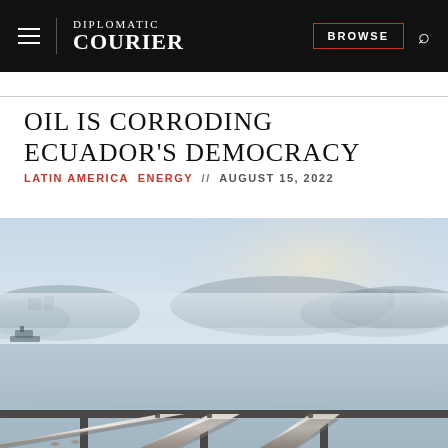DIPLOMATIC COURIER | BROWSE
OIL IS CORRODING ECUADOR'S DEMOCRACY
LATIN AMERICA  ENERGY // AUGUST 15, 2022
[Figure (photo): Aerial view of large industrial pipelines extending over calm water toward a misty coastline with hills in the background, taken at sunrise or early morning light.]